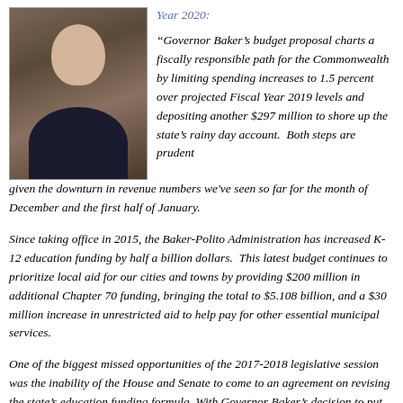[Figure (photo): Headshot of a man in a dark suit with a red tie, smiling, against a neutral background.]
Year 2020:
“Governor Baker’s budget proposal charts a fiscally responsible path for the Commonwealth by limiting spending increases to 1.5 percent over projected Fiscal Year 2019 levels and depositing another $297 million to shore up the state’s rainy day account.  Both steps are prudent given the downturn in revenue numbers we've seen so far for the month of December and the first half of January.
Since taking office in 2015, the Baker-Polito Administration has increased K-12 education funding by half a billion dollars.  This latest budget continues to prioritize local aid for our cities and towns by providing $200 million in additional Chapter 70 funding, bringing the total to $5.108 billion, and a $30 million increase in unrestricted aid to help pay for other essential municipal services.
One of the biggest missed opportunities of the 2017-2018 legislative session was the inability of the House and Senate to come to an agreement on revising the state’s education funding formula. With Governor Baker’s decision to put